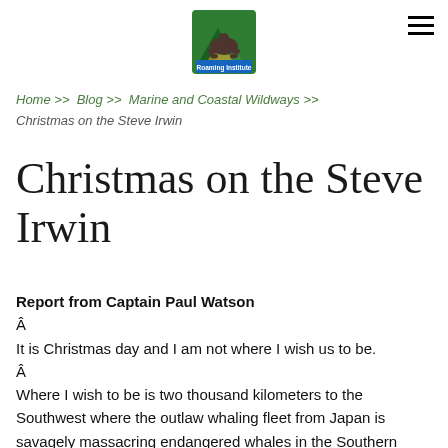[Figure (logo): Roaming Institute logo — stylized green triangular mountain with animal silhouette and text 'Roaming Institute']
Home >> Blog >> Marine and Coastal Wildways >> Christmas on the Steve Irwin
Christmas on the Steve Irwin
Report from Captain Paul Watson
Â
It is Christmas day and I am not where I wish us to be.
Â
Where I wish to be is two thousand kilometers to the Southwest where the outlaw whaling fleet from Japan is savagely massacring endangered whales in the Southern Ocean Sanctuary.
Â